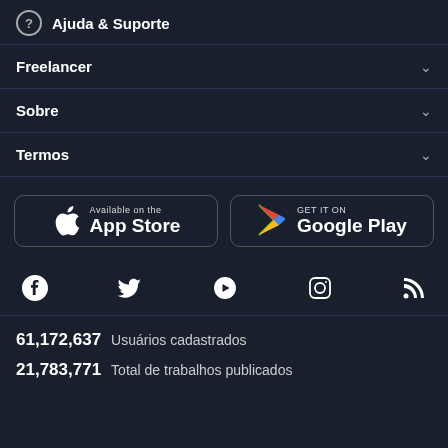Ajuda & Suporte
Freelancer
Sobre
Termos
[Figure (other): App Store and Google Play download buttons]
[Figure (other): Social media icons: Facebook, Twitter, YouTube, Instagram, RSS]
61,172,637  Usuários cadastrados
21,783,771  Total de trabalhos publicados